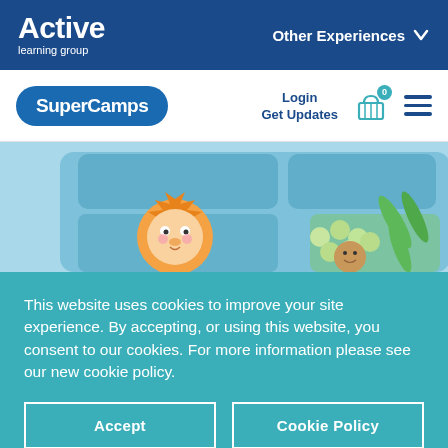Active learning group — Other Experiences
[Figure (logo): SuperCamps logo - blue rounded rectangle with white bold text]
Login
Get Updates
[Figure (photo): Bento box lunchbox with fun lion-shaped food, green peas, and grapes on a blue background]
This website uses cookies to improve your site experience. By accepting, or using this website, you consent to our cookies. For more information please see our new cookie policy.
Accept
Cookie Policy